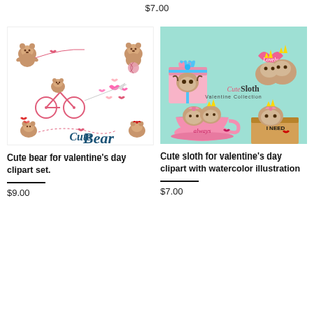$7.00
[Figure (illustration): Cute bear valentine's day clipart set showing bears on bicycle, bears connected by heart strings, bears with pink hearts, and 'Cute Bear' text logo on white background]
[Figure (illustration): Cute sloth valentine's day clipart with watercolor illustration showing sloths with crowns hugging pink hearts, sloth in gift box, sloths in teacup, sloth with 'I NEED' sign, on mint/teal background with 'Cute Sloth Valentine Collection' text]
Cute bear for valentine's day clipart set.
$9.00
Cute sloth for valentine's day clipart with watercolor illustration
$7.00